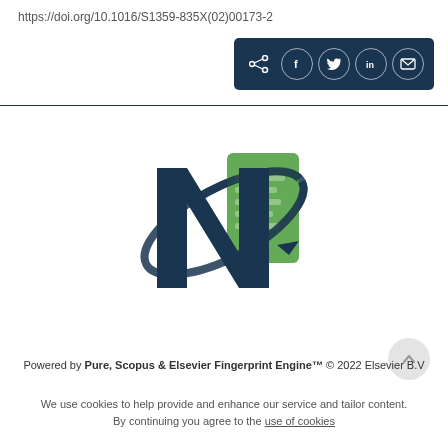https://doi.org/10.1016/S1359-835X(02)00173-2
[Figure (logo): Elsevier / Mendeley style logo with a dark blue and green 'N' or 'M' letter overlaid with an orbital ring, suggesting a scientific/academic publisher branding.]
Powered by Pure, Scopus & Elsevier Fingerprint Engine™ © 2022 Elsevier B.V
We use cookies to help provide and enhance our service and tailor content. By continuing you agree to the use of cookies